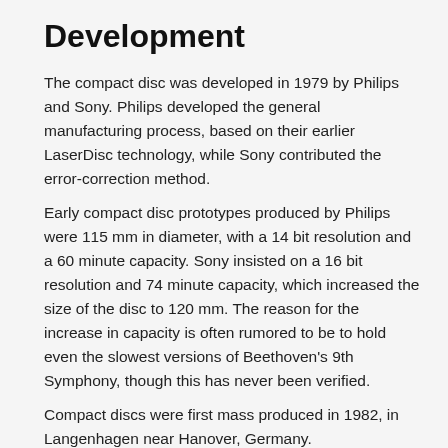Development
The compact disc was developed in 1979 by Philips and Sony. Philips developed the general manufacturing process, based on their earlier LaserDisc technology, while Sony contributed the error-correction method.
Early compact disc prototypes produced by Philips were 115 mm in diameter, with a 14 bit resolution and a 60 minute capacity. Sony insisted on a 16 bit resolution and 74 minute capacity, which increased the size of the disc to 120 mm. The reason for the increase in capacity is often rumored to be to hold even the slowest versions of Beethoven's 9th Symphony, though this has never been verified.
Compact discs were first mass produced in 1982, in Langenhagen near Hanover, Germany.
Physical details